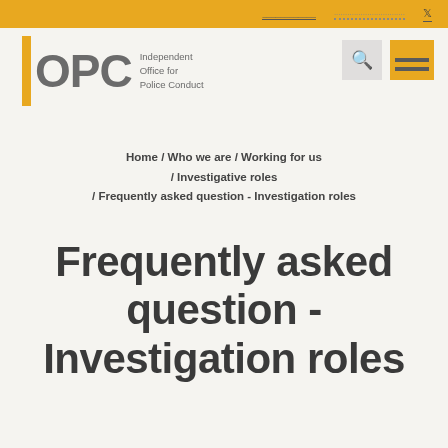IOPC - Independent Office for Police Conduct
Home / Who we are / Working for us / Investigative roles / Frequently asked question - Investigation roles
Frequently asked question - Investigation roles